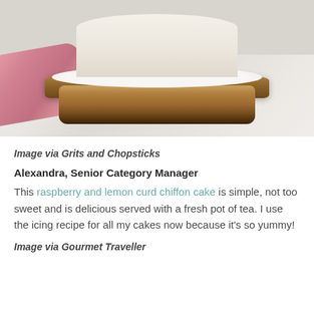[Figure (photo): A cake on a rustic wood slice cake stand with a pink napkin on a marble surface, photographed from above at an angle.]
Image via Grits and Chopsticks
Alexandra, Senior Category Manager
This raspberry and lemon curd chiffon cake is simple, not too sweet and is delicious served with a fresh pot of tea. I use the icing recipe for all my cakes now because it's so yummy!
Image via Gourmet Traveller